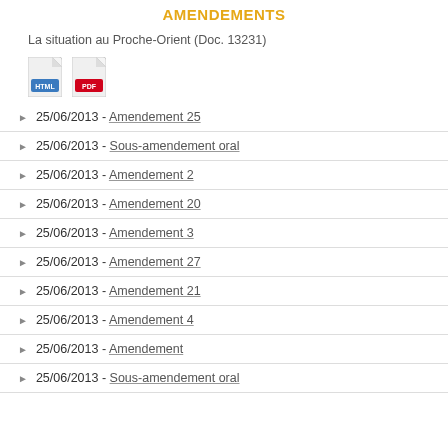AMENDEMENTS
La situation au Proche-Orient (Doc. 13231)
[Figure (illustration): HTML and PDF file format icons]
25/06/2013 - Amendement 25
25/06/2013 - Sous-amendement oral
25/06/2013 - Amendement 2
25/06/2013 - Amendement 20
25/06/2013 - Amendement 3
25/06/2013 - Amendement 27
25/06/2013 - Amendement 21
25/06/2013 - Amendement 4
25/06/2013 - Amendement
25/06/2013 - Sous-amendement oral